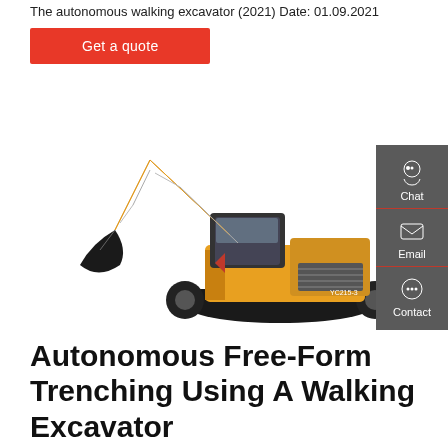The autonomous walking excavator (2021) Date: 01.09.2021
Get a quote
[Figure (photo): Yellow Yuchai tracked excavator (model YC215-3) photographed on white background, side view showing full arm extended with bucket, cab and undercarriage.]
Autonomous Free-Form Trenching Using A Walking Excavator